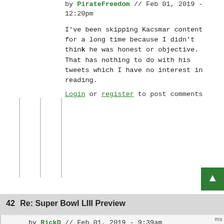by PirateFreedom // Feb 01, 2019 - 12:20pm
I've been skipping Kacsmar content for a long time because I didn't think he was honest or objective. That has nothing to do with his tweets which I have no interest in reading.
Login or register to post comments
42  Re: Super Bowl LIII Preview
by RickD // Feb 01, 2019 - 9:39am